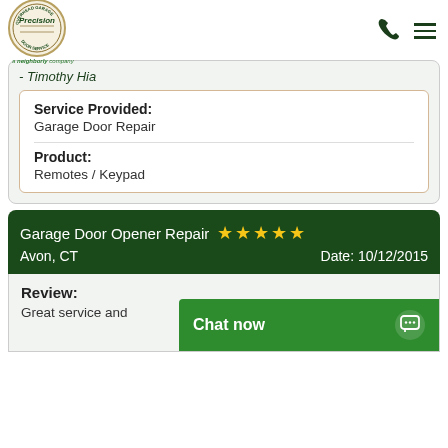[Figure (logo): Precision Overhead Garage Door Service logo - oval shape with green and gold colors, 'a Neighborly company' tagline below]
- Timothy Hia
Service Provided:
Garage Door Repair
Product:
Remotes / Keypad
Garage Door Opener Repair ★★★★★
Avon, CT   Date: 10/12/2015
Review:
Great service and
Chat now